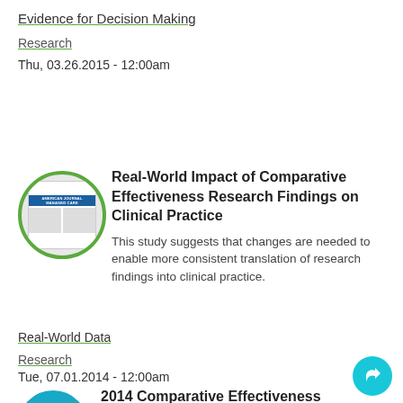Evidence for Decision Making
Research
Thu, 03.26.2015 - 12:00am
[Figure (illustration): Circular thumbnail of American Journal of Managed Care publication cover with blue header and two-column article layout]
Real-World Impact of Comparative Effectiveness Research Findings on Clinical Practice
This study suggests that changes are needed to enable more consistent translation of research findings into clinical practice.
Real-World Data
Research
Tue, 07.01.2014 - 12:00am
[Figure (logo): Circular thumbnail with teal/green gradient for 2014 Comparative Effectiveness Research article]
2014 Comparative Effectiveness Research and the Environment for...